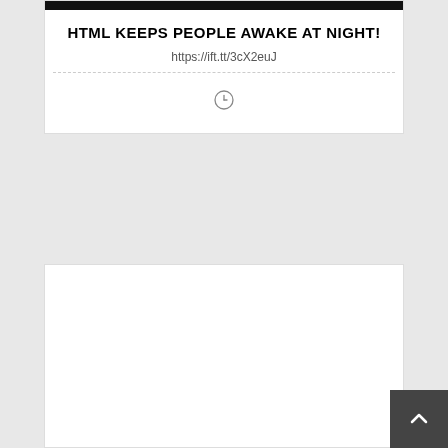[Figure (screenshot): Dark image bar at top of card]
HTML KEEPS PEOPLE AWAKE AT NIGHT!
https://ift.tt/3cX2euJ
[Figure (other): Clock/timer icon inside card below divider]
[Figure (other): Second white card (mostly empty) below the first card]
[Figure (other): Back to top button — dark square with upward chevron, bottom-right corner]